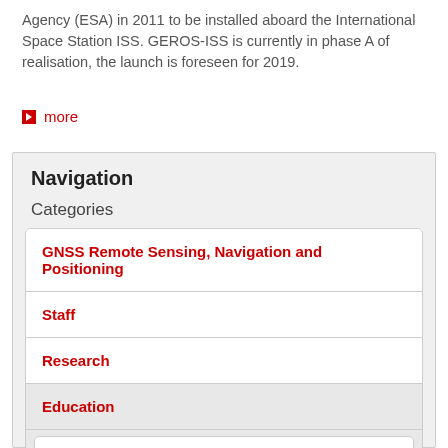Agency (ESA) in 2011 to be installed aboard the International Space Station ISS. GEROS-ISS is currently in phase A of realisation, the launch is foreseen for 2019.
more
Navigation
Categories
GNSS Remote Sensing, Navigation and Positioning
Staff
Research
Education
Lessons